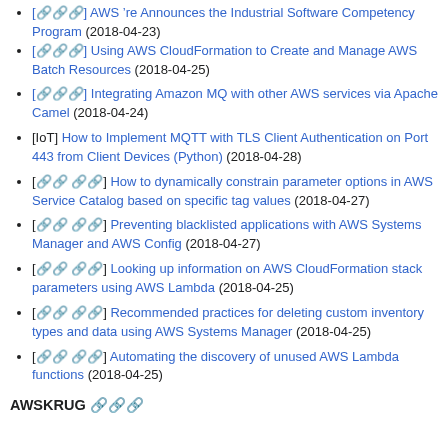[🔗] AWS 're Announces the Industrial Software Competency Program (2018-04-23)
[🔗] Using AWS CloudFormation to Create and Manage AWS Batch Resources (2018-04-25)
[🔗] Integrating Amazon MQ with other AWS services via Apache Camel (2018-04-24)
[IoT] How to Implement MQTT with TLS Client Authentication on Port 443 from Client Devices (Python) (2018-04-28)
[🔗] How to dynamically constrain parameter options in AWS Service Catalog based on specific tag values (2018-04-27)
[🔗] Preventing blacklisted applications with AWS Systems Manager and AWS Config (2018-04-27)
[🔗] Looking up information on AWS CloudFormation stack parameters using AWS Lambda (2018-04-25)
[🔗] Recommended practices for deleting custom inventory types and data using AWS Systems Manager (2018-04-25)
[🔗] Automating the discovery of unused AWS Lambda functions (2018-04-25)
AWSKRUG 🔗